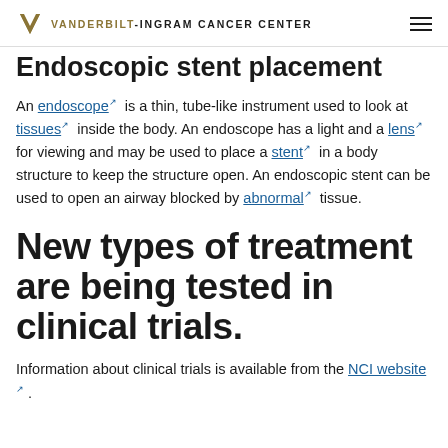VANDERBILT-INGRAM CANCER CENTER
Endoscopic stent placement
An endoscope is a thin, tube-like instrument used to look at tissues inside the body. An endoscope has a light and a lens for viewing and may be used to place a stent in a body structure to keep the structure open. An endoscopic stent can be used to open an airway blocked by abnormal tissue.
New types of treatment are being tested in clinical trials.
Information about clinical trials is available from the NCI website.